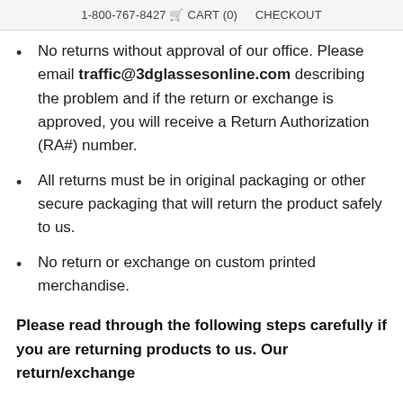1-800-767-8427  CART (0)  CHECKOUT
No returns without approval of our office. Please email traffic@3dglassesonline.com describing the problem and if the return or exchange is approved, you will receive a Return Authorization (RA#) number.
All returns must be in original packaging or other secure packaging that will return the product safely to us.
No return or exchange on custom printed merchandise.
Please read through the following steps carefully if you are returning products to us. Our return/exchange